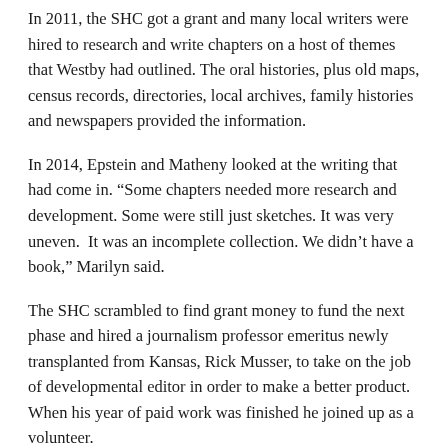In 2011, the SHC got a grant and many local writers were hired to research and write chapters on a host of themes that Westby had outlined. The oral histories, plus old maps, census records, directories, local archives, family histories and newspapers provided the information.
In 2014, Epstein and Matheny looked at the writing that had come in. “Some chapters needed more research and development. Some were still just sketches. It was very uneven. It was an incomplete collection. We didn’t have a book,” Marilyn said.
The SHC scrambled to find grant money to fund the next phase and hired a journalism professor emeritus newly transplanted from Kansas, Rick Musser, to take on the job of developmental editor in order to make a better product. When his year of paid work was finished he joined up as a volunteer.
In the end Musser said there was enough material for another book, lamenting that certain chapters had to be cut. Berlowe said it was “a little bit of a struggle: Where do we stop? How recently do we stop? History is made every day, every minute.”
When it came to working with the publisher to really put the book